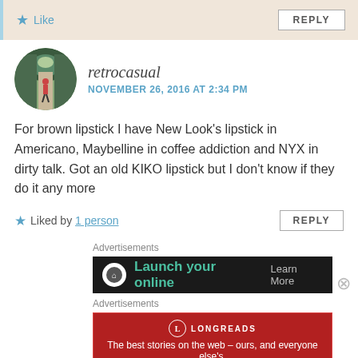[Figure (screenshot): Top comment bar with Like button (star icon) and REPLY button on beige background]
[Figure (photo): Circular avatar photo of a person walking down a tree-lined path]
retrocasual
NOVEMBER 26, 2016 AT 2:34 PM
For brown lipstick I have New Look’s lipstick in Americano, Maybelline in coffee addiction and NYX in dirty talk. Got an old KIKO lipstick but I don’t know if they do it any more
Liked by 1 person
REPLY
Advertisements
[Figure (screenshot): Dark banner ad reading Launch your online with Learn More text]
Advertisements
[Figure (screenshot): Longreads red banner ad: The best stories on the web – ours, and everyone else’s.]